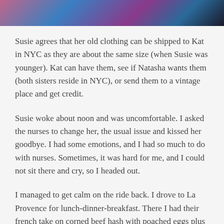[Figure (photo): Cropped photo of colorful clothing or fabric, partially visible at the top of the page]
Susie agrees that her old clothing can be shipped to Kat in NYC as they are about the same size (when Susie was younger). Kat can have them, see if Natasha wants them (both sisters reside in NYC), or send them to a vintage place and get credit.
Susie woke about noon and was uncomfortable. I asked the nurses to change her, the usual issue and kissed her goodbye. I had some emotions, and I had so much to do with nurses. Sometimes, it was hard for me, and I could not sit there and cry, so I headed out.
I managed to get calm on the ride back. I drove to La Provence for lunch-dinner-breakfast. There I had their french take on corned beef hash with poached eggs plus their excellent croissant. Food is my answer to most emotional